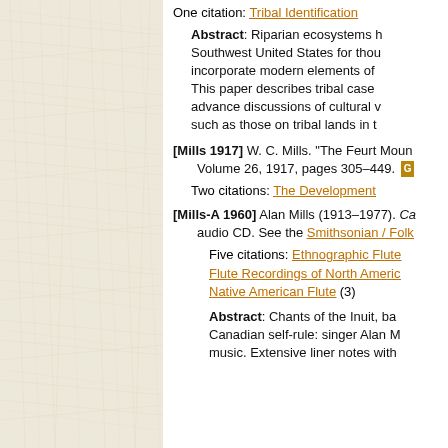One citation: Tribal Identification
Abstract: Riparian ecosystems h... Southwest United States for thou... incorporate modern elements of... This paper describes tribal case... advance discussions of cultural v... such as those on tribal lands in t...
[Mills 1917] W. C. Mills. "The Feurt Moun... Volume 26, 1917, pages 305–449.
Two citations: The Development
[Mills-A 1960] Alan Mills (1913–1977). Ca... audio CD. See the Smithsonian / Folk
Five citations: Ethnographic Flute... Flute Recordings of North Americ... Native American Flute (3)
Abstract: Chants of the Inuit, ba... Canadian self-rule: singer Alan M... music. Extensive liner notes with